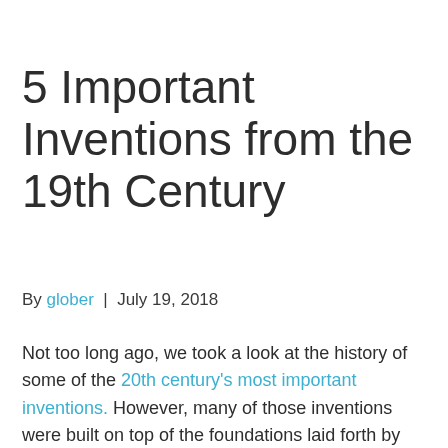5 Important Inventions from the 19th Century
By glober | July 19, 2018
Not too long ago, we took a look at the history of some of the 20th century's most important inventions. However, many of those inventions were built on top of the foundations laid forth by other inventions that came in the 19th century. Today, we'll be looking at just a few of those